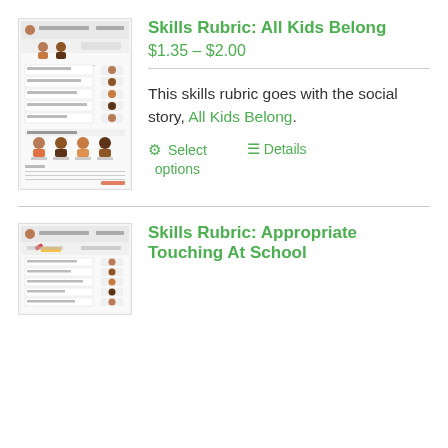[Figure (illustration): Thumbnail of a skills rubric worksheet for All Kids Belong, showing a table with student photos and evaluation rows]
Skills Rubric: All Kids Belong
$1.35 – $2.00
This skills rubric goes with the social story, All Kids Belong.
Select options   Details
[Figure (illustration): Thumbnail of a skills rubric worksheet for Appropriate Touching At School]
Skills Rubric: Appropriate Touching At School